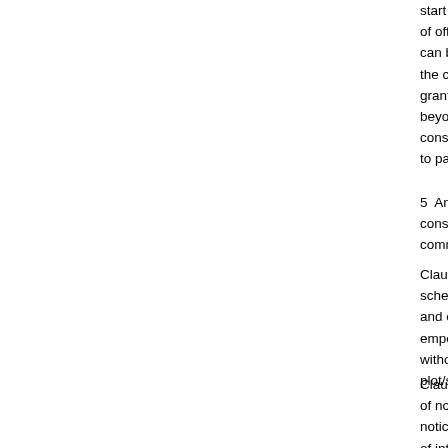start commercial production within a period of the offer of possession. Extension for commencement can be granted for 6 months maximum if circumstances beyond the control of the allottee. Similarly, extension can be granted for commencement of commercial production beyond its control and only if 10% of the permissible area constructed and effective steps taken for commencement subject to payment of the extension fee.
5 An allottee will be deemed to have commenced if he constructs minimum 25% of the permissible area and starts commercial production within the period specified.
Clause 14 provides for consequences of non-adherence to schedule of payment and schedule of implementation of project and on an unsatisfactory reply to the show cause notice, HSIDC is empowered to the plot/shed and the principal amount will be refunded without payment of interest and after deducting 10% of cost of plot/shed.
Clause 26 provides for the resumption of plot/shed in the event of non-compliance of the terms and conditions of allotment after due notice therefor. The principal amount will be refunded without payment of interest and after deduction of the 10% of cost of plot without interest. The allottee will be free to remove the structure within a period of 2 months of resumption order at his cost and allottee will not be entitled to any payment/compensation for the structure raised by it on the resumed plot.
6 Clause 27 provides that no restoration of allotment will be allowed.